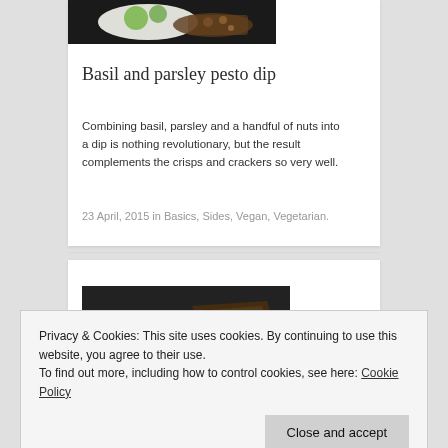[Figure (photo): Partial food photo showing pesto dip with herbs and crackers on a dark background, top portion only]
Basil and parsley pesto dip
Combining basil, parsley and a handful of nuts into a dip is nothing revolutionary, but the result complements the crisps and crackers so very well.
23 April, 2015 in Basics, Sides, Vegan, Vegetarian.
[Figure (photo): Food photo showing linseed crisps on a dark background — green herb-topped crackers and seed-covered crackers]
Linseed crisps
Privacy & Cookies: This site uses cookies. By continuing to use this website, you agree to their use.
To find out more, including how to control cookies, see here: Cookie Policy
Close and accept